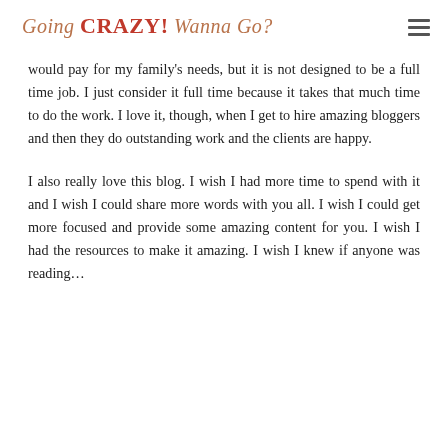Going CRAZY! Wanna Go?
would pay for my family's needs, but it is not designed to be a full time job. I just consider it full time because it takes that much time to do the work. I love it, though, when I get to hire amazing bloggers and then they do outstanding work and the clients are happy.
I also really love this blog. I wish I had more time to spend with it and I wish I could share more words with you all. I wish I could get more focused and provide some amazing content for you. I wish I had the resources to make it amazing. I wish I knew if anyone was reading…